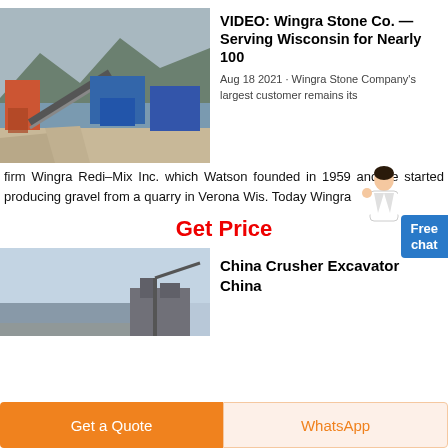[Figure (photo): Outdoor quarry/stone crushing equipment near a river with mountains in background]
VIDEO: Wingra Stone Co. — Serving Wisconsin for Nearly 100
Aug 18 2021 · Wingra Stone Company's largest customer remains its firm Wingra Redi-Mix Inc. which Watson founded in 1959 and he started producing gravel from a quarry in Verona Wis. Today Wingra
Get Price
[Figure (photo): Outdoor scene with sky and building/machinery, China Crusher Excavator article thumbnail]
China Crusher Excavator China